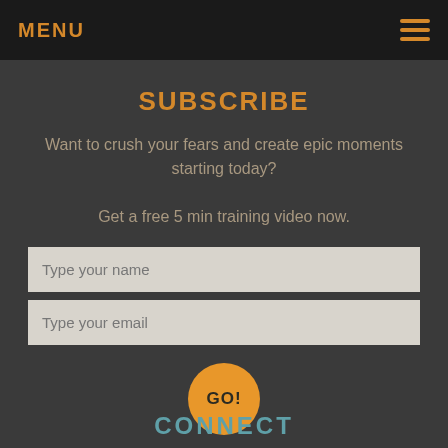MENU
SUBSCRIBE
Want to crush your fears and create epic moments starting today?

Get a free 5 min training video now.
Type your name
Type your email
GO!
CONNECT